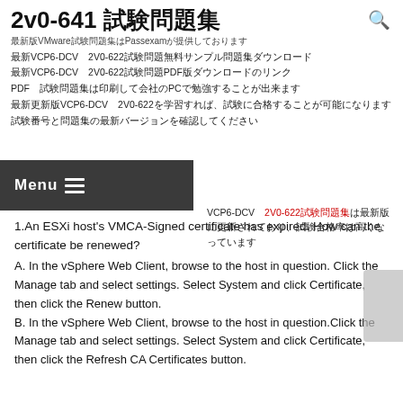2v0-641 試験問題集
最新版VMware試験問題集はPassexamが提供しております
最新VCP6-DCV　2V0-622試験問題無料サンプル問題集ダウンロード
最新VCP6-DCV　2V0-622試験問題PDF版ダウンロードのリンク
PDF　試験問題集は印刷して会社のPCで勉強することが出来ます
最新更新版VCP6-DCV　2V0-622を学習すれば、試験に合格することが可能になります
試験番号と問題集の最新バージョンを確認してください
VCP6-DCV　2V0-622試験問題集は最新版に更新されており、試験合格率は高くなっています
1.An ESXi host's VMCA-Signed certificate has expired. How can the certificate be renewed?
A. In the vSphere Web Client, browse to the host in question. Click the Manage tab and select settings. Select System and click Certificate, then click the Renew button.
B. In the vSphere Web Client, browse to the host in question.Click the Manage tab and select settings. Select System and click Certificate, then click the Refresh CA Certificates button.